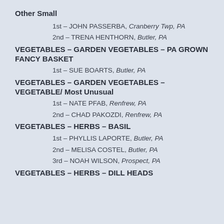Other Small
1st – JOHN PASSERBA, Cranberry Twp, PA
2nd – TRENA HENTHORN, Butler, PA
VEGETABLES – GARDEN VEGETABLES – PA GROWN FANCY BASKET
1st – SUE BOARTS, Butler, PA
VEGETABLES – GARDEN VEGETABLES – VEGETABLE/ Most Unusual
1st – NATE PFAB, Renfrew, PA
2nd – CHAD PAKOZDI, Renfrew, PA
VEGETABLES – HERBS – BASIL
1st – PHYLLIS LAPORTE, Butler, PA
2nd – MELISA COSTEL, Butler, PA
3rd – NOAH WILSON, Prospect, PA
VEGETABLES – HERBS – DILL HEADS